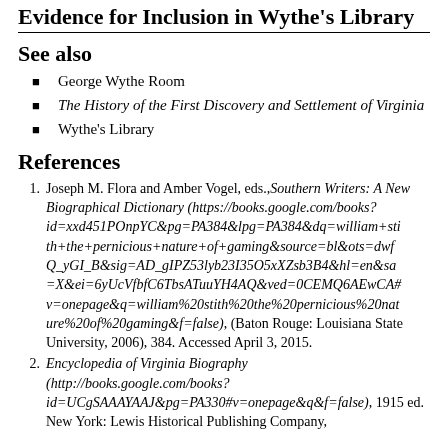Evidence for Inclusion in Wythe's Library
See also
George Wythe Room
The History of the First Discovery and Settlement of Virginia
Wythe's Library
References
Joseph M. Flora and Amber Vogel, eds., Southern Writers: A New Biographical Dictionary (https://books.google.com/books?id=xxd451POnpYC&pg=PA384&lpg=PA384&dq=william+stith+the+pernicious+nature+of+gaming&source=bl&ots=dwfQ_yGI_B&sig=AD_gIPZ53lyb23I35O5xXZsb3B4&hl=en&sa=X&ei=6yUcVfbfC6TbsATuuYH4AQ&ved=0CEMQ6AEwCA#v=onepage&q=william%20stith%20the%20pernicious%20nature%20of%20gaming&f=false), (Baton Rouge: Louisiana State University, 2006), 384. Accessed April 3, 2015.
Encyclopedia of Virginia Biography (http://books.google.com/books?id=UCgSAAAYAAJ&pg=PA330#v=onepage&q&f=false), 1915 ed. New York: Lewis Historical Publishing Company,